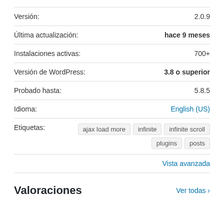| Versión: | 2.0.9 |
| Última actualización: | hace 9 meses |
| Instalaciones activas: | 700+ |
| Versión de WordPress: | 3.8 o superior |
| Probado hasta: | 5.8.5 |
| Idioma: | English (US) |
| Etiquetas: | ajax load more  infinite  infinite scroll  plugins  posts |
Vista avanzada
Valoraciones
Ver todas >